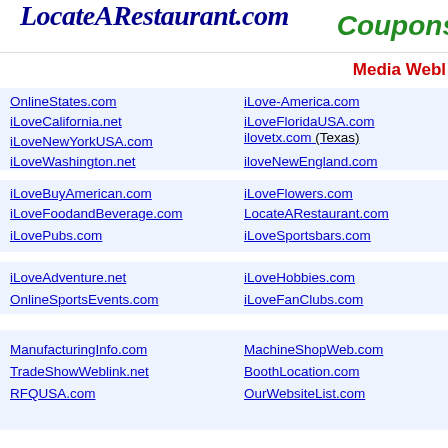LocateARestaurant.com | Coupons
Media Webl
OnlineStates.com
iLoveCalifornia.net
iLoveNewYorkUSA.com
iLoveWashington.net
iLove-America.com
iLoveFloridaUSA.com
ilovetx.com (Texas)
iloveNewEngland.com
iLoveBuyAmerican.com
iLoveFoodandBeverage.com
iLovePubs.com
iLoveFlowers.com
LocateARestaurant.com
iLoveSportsbars.com
iLoveAdventure.net
OnlineSportsEvents.com
iLoveHobbies.com
iLoveFanClubs.com
ManufacturingInfo.com
TradeShowWeblink.net
RFQUSA.com
MachineShopWeb.com
BoothLocation.com
OurWebsiteList.com